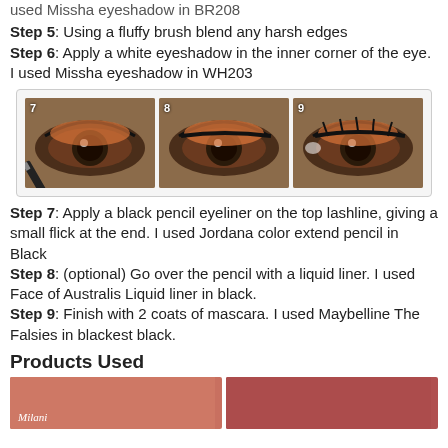used Missha eyeshadow in BR208
Step 5: Using a fluffy brush blend any harsh edges
Step 6: Apply a white eyeshadow in the inner corner of the eye. I used Missha eyeshadow in WH203
[Figure (photo): Three side-by-side close-up photos of an eye showing makeup steps 7, 8, and 9 with orange eyeshadow and eyeliner being applied]
Step 7: Apply a black pencil eyeliner on the top lashline, giving a small flick at the end. I used Jordana color extend pencil in Black
Step 8: (optional) Go over the pencil with a liquid liner. I used Face of Australis Liquid liner in black.
Step 9: Finish with 2 coats of mascara. I used Maybelline The Falsies in blackest black.
Products Used
[Figure (photo): Two product photos showing makeup products used in the tutorial]